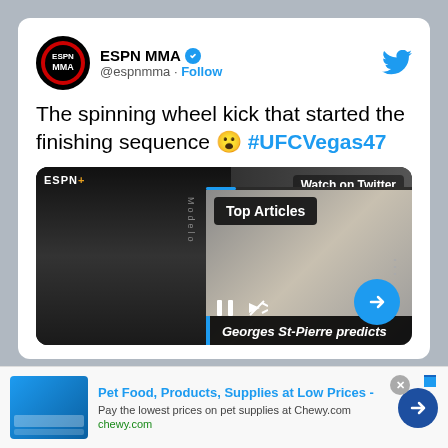[Figure (screenshot): Screenshot of ESPN MMA tweet showing spinning wheel kick video for #UFCVegas47 with a Top Articles overlay showing Georges St-Pierre, and a Chewy.com advertisement banner at the bottom.]